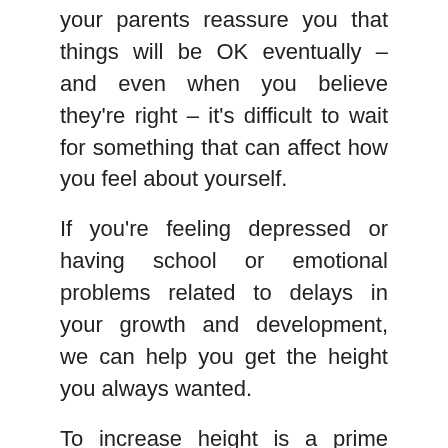your parents reassure you that things will be OK eventually – and even when you believe they're right – it's difficult to wait for something that can affect how you feel about yourself.
If you're feeling depressed or having school or emotional problems related to delays in your growth and development, we can help you get the height you always wanted.
To increase height is a prime concern in many people's minds today. A good height makes one look great, be confident and have greater self-esteem.
Human growth hormone is one of the solutions to the problem of how to increase height. Human growth hormone is produced in the anterior portion